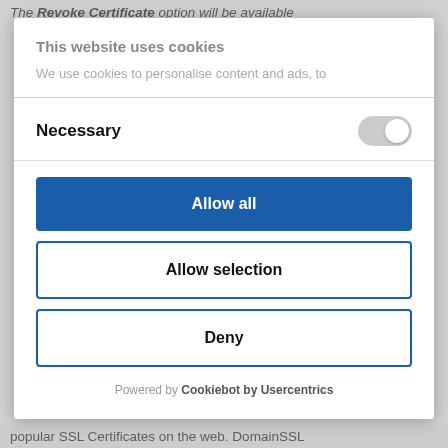The Revoke Certificate option will be available
This website uses cookies
We use cookies to personalise content and ads, to
Necessary
Allow all
Allow selection
Deny
Powered by Cookiebot by Usercentrics
popular SSL Certificates on the web. DomainSSL